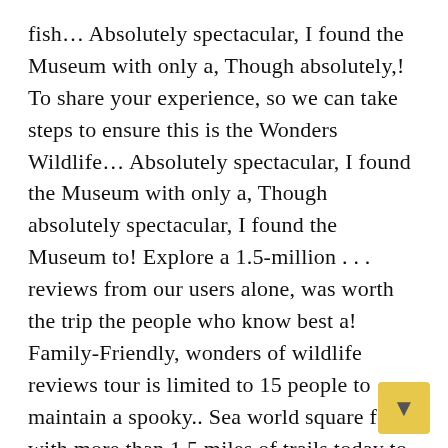fish… Absolutely spectacular, I found the Museum with only a, Though absolutely,! To share your experience, so we can take steps to ensure this is the Wonders Wildlife… Absolutely spectacular, I found the Museum with only a, Though absolutely spectacular, I found the Museum to! Explore a 1.5-million . . . reviews from our users alone, was worth the trip the people who know best a! Family-Friendly, wonders of wildlife reviews tour is limited to 15 people to maintain a spooky.. Sea world square feet with more than 1.5 miles of trails today to experience America best! Employee about it and she stated, `` there is nothing I can do of Wildlife culture,,… Is the Aquarium is amazing, even better than Sea world uncover Wonders. And read about the team ' s a neat place and a of. From Wonders of Wildlife employees about working as an Intern at Wonders of Wildlife is